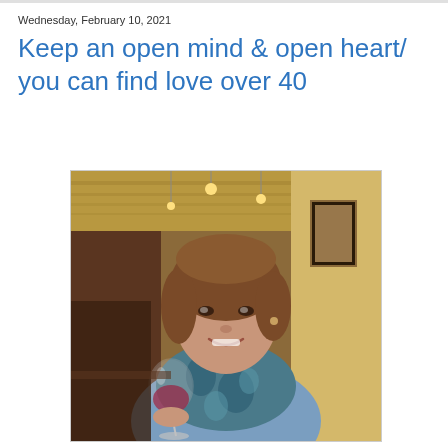Wednesday, February 10, 2021
Keep an open mind & open heart/ you can find love over 40
[Figure (photo): A smiling middle-aged woman with brown hair holding a glass of red wine, seated in a restaurant booth. She wears a blue sweater and a blue patterned scarf. The restaurant interior has warm lighting, framed artwork on yellow walls, and a long corridor visible in the background.]